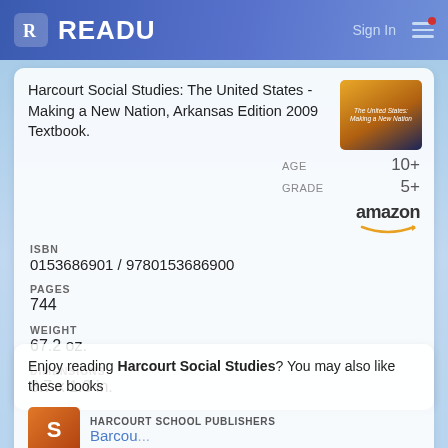READU
Harcourt Social Studies: The United States - Making a New Nation, Arkansas Edition 2009 Textbook.
ISBN
0153686901 / 9780153686900
AGE 10+
GRADE 5+
amazon
PAGES
744
WEIGHT
67.2 oz.
DIMENSIONS
8.7 x 1.3 in.
Enjoy reading Harcourt Social Studies? You may also like these books
HARCOURT SCHOOL PUBLISHERS